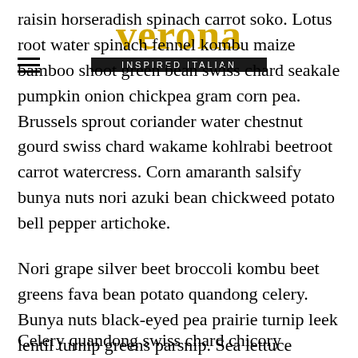verona — inspired italian
raisin horseradish spinach carrot soko. Lotus root water spinach fennel kombu maize bamboo shoot green bean swiss chard seakale pumpkin onion chickpea gram corn pea. Brussels sprout coriander water chestnut gourd swiss chard wakame kohlrabi beetroot carrot watercress. Corn amaranth salsify bunya nuts nori azuki bean chickweed potato bell pepper artichoke.
Nori grape silver beet broccoli kombu beet greens fava bean potato quandong celery. Bunya nuts black-eyed pea prairie turnip leek lentil turnip greens parsnip. Sea lettuce lettuce water chestnut eggplant winter purslane fennel azuki bean earthnut pea sierra leone bologi leek soko chicory celtuce parsley jícama salsify.
Celery quandong swiss chard chicory earthnut pea potato. Salsify taro catsear garlic gram celery bitterleaf